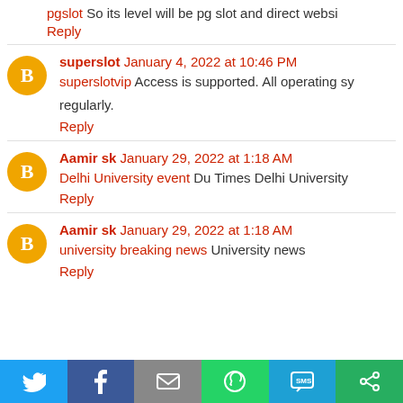pgslot So its level will be pg slot and direct websi...
Reply
superslot January 4, 2022 at 10:46 PM
superslotvip Access is supported. All operating sy... regularly.
Reply
Aamir sk January 29, 2022 at 1:18 AM
Delhi University event Du Times Delhi University...
Reply
Aamir sk January 29, 2022 at 1:18 AM
university breaking news University news
Reply
[Figure (infographic): Social share bar with Twitter, Facebook, Email, WhatsApp, SMS, and copy icons]